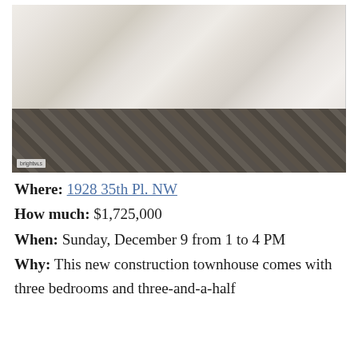[Figure (photo): Interior photo of a modern luxury bathroom with white marble walls, herringbone dark tile floor, glass shower enclosure, freestanding white bathtub, and white floating vanity. Bright MLS watermark in lower left corner.]
Where: 1928 35th Pl. NW
How much: $1,725,000
When: Sunday, December 9 from 1 to 4 PM
Why: This new construction townhouse comes with three bedrooms and three-and-a-half